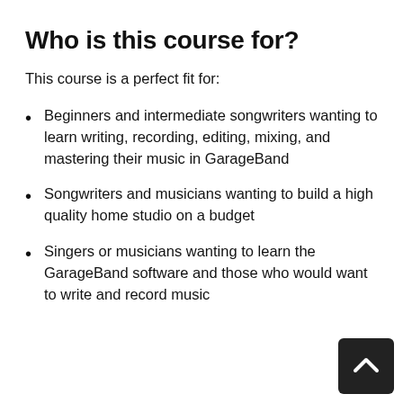Who is this course for?
This course is a perfect fit for:
Beginners and intermediate songwriters wanting to learn writing, recording, editing, mixing, and mastering their music in GarageBand
Songwriters and musicians wanting to build a high quality home studio on a budget
Singers or musicians wanting to learn the GarageBand software and those who would want to write and record music